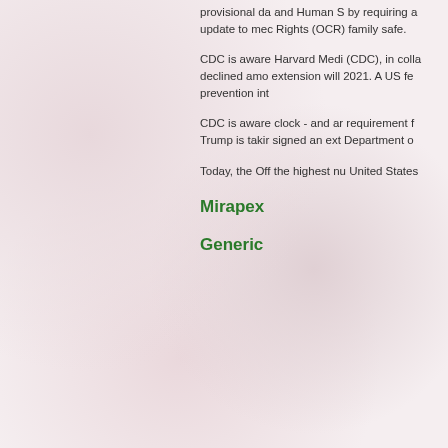provisional da and Human S by requiring a update to me Rights (OCR) family safe.
CDC is aware Harvard Medi (CDC), in colla declined amo extension will 2021. A US fe prevention int
CDC is aware clock - and ar requirement f Trump is takir signed an ext Department o
Today, the Off the highest nu United States
Mirapex
Generic